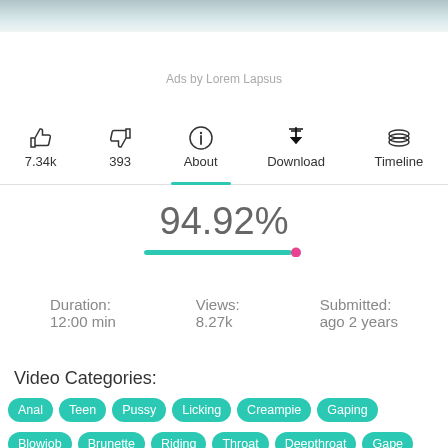[Figure (photo): Blurred top image banner]
Ads by Lorem Lapsus
7.34k   393   About   Download   Timeline
94.92%
Duration: 12:00 min   Views: 8.27k   Submitted: ago 2 years
Video Categories:
Anal
Teen
Pussy
Licking
Creampie
Gaping
Blowjob
Brunette
Riding
Throat
Deepthroat
Gape